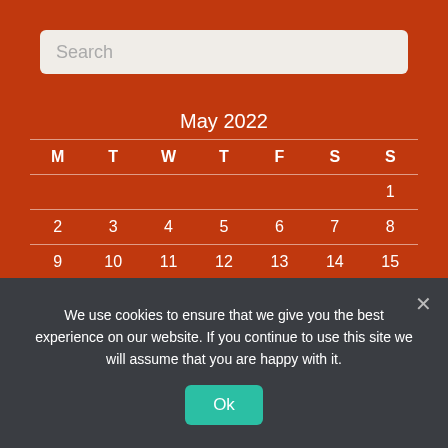Search
| M | T | W | T | F | S | S |
| --- | --- | --- | --- | --- | --- | --- |
|  |  |  |  |  |  | 1 |
| 2 | 3 | 4 | 5 | 6 | 7 | 8 |
| 9 | 10 | 11 | 12 | 13 | 14 | 15 |
| 16 | 17 | 18 | 19 | 20 | 21 | 22 |
| 23 | 24 | 25 | 26 | 27 | 28 | 29 |
| 30 | 31 |  |  |  |  |  |
May 2022
We use cookies to ensure that we give you the best experience on our website. If you continue to use this site we will assume that you are happy with it.